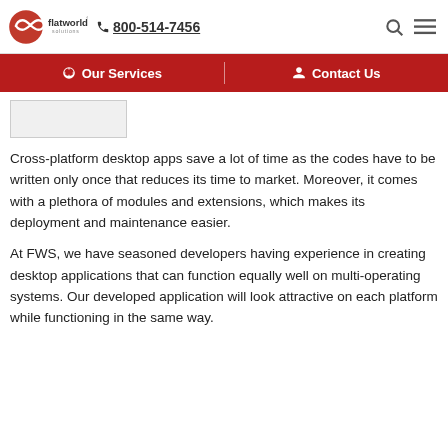flatworld solutions | 800-514-7456
Our Services | Contact Us
[Figure (other): Partial image/thumbnail visible behind navigation]
Cross-platform desktop apps save a lot of time as the codes have to be written only once that reduces its time to market. Moreover, it comes with a plethora of modules and extensions, which makes its deployment and maintenance easier.
At FWS, we have seasoned developers having experience in creating desktop applications that can function equally well on multi-operating systems. Our developed application will look attractive on each platform while functioning in the same way.